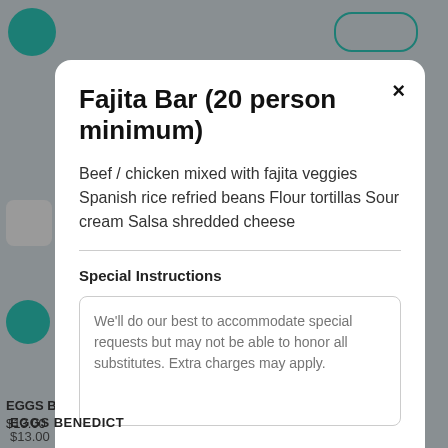Fajita Bar (20 person minimum)
Beef / chicken mixed with fajita veggies Spanish rice refried beans Flour tortillas Sour cream Salsa shredded cheese
Special Instructions
We'll do our best to accommodate special requests but may not be able to honor all substitutes. Extra charges may apply.
1
Add to Cart   $300.00
EGGS BENEDICT
$13.00